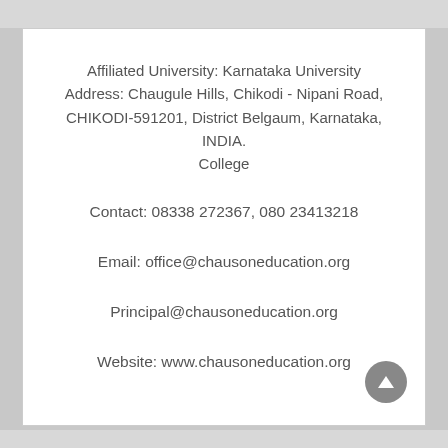Affiliated University: Karnataka University Address: Chaugule Hills, Chikodi - Nipani Road, CHIKODI-591201, District Belgaum, Karnataka, INDIA. College
Contact: 08338 272367, 080 23413218
Email: office@chausoneducation.org
Principal@chausoneducation.org
Website: www.chausoneducation.org